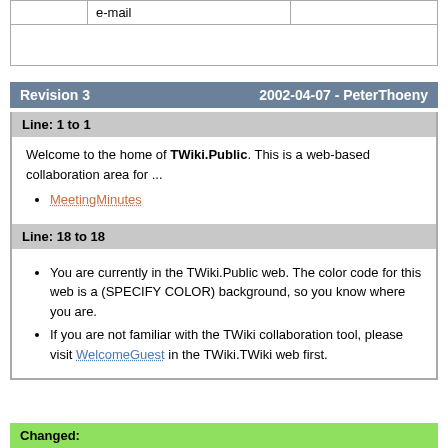|  | e-mail |  |
Revision 3    2002-04-07 - PeterThoeny
Line: 1 to 1
Welcome to the home of TWiki.Public. This is a web-based collaboration area for ...
MeetingMinutes
Line: 18 to 18
You are currently in the TWiki.Public web. The color code for this web is a (SPECIFY COLOR) background, so you know where you are.
If you are not familiar with the TWiki collaboration tool, please visit WelcomeGuest in the TWiki.TWiki web first.
Changed: